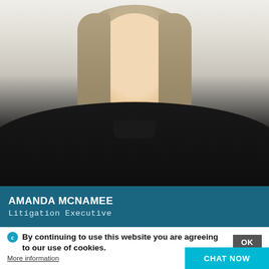[Figure (photo): Professional headshot of Amanda McNamee, a woman with straight blonde/ash hair past shoulders, wearing a black button-up top, smiling, against a white/light background.]
AMANDA MCNAMEE
Litigation Executive
By continuing to use this website you are agreeing to our use of cookies.
OK
More information
CHAT NOW